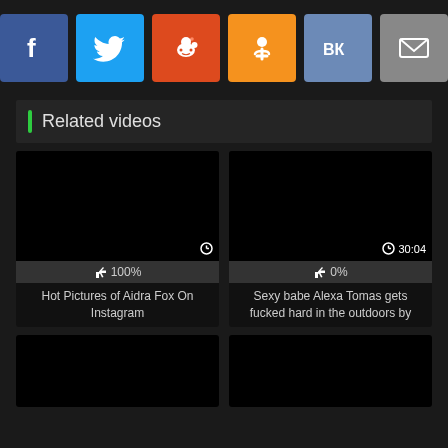[Figure (infographic): Social share buttons: Facebook (blue), Twitter (light blue), Reddit (orange-red), Odnoklassniki (orange), VKontakte (blue-grey), Email (grey)]
Related videos
[Figure (screenshot): Video thumbnail - black, clock icon, 100% thumbs up rating. Title: Hot Pictures of Aidra Fox On Instagram]
[Figure (screenshot): Video thumbnail - black, clock icon, duration 30:04, 0% thumbs up rating. Title: Sexy babe Alexa Tomas gets fucked hard in the outdoors by]
[Figure (screenshot): Video thumbnail - black, partially visible at bottom]
[Figure (screenshot): Video thumbnail - black, partially visible at bottom]